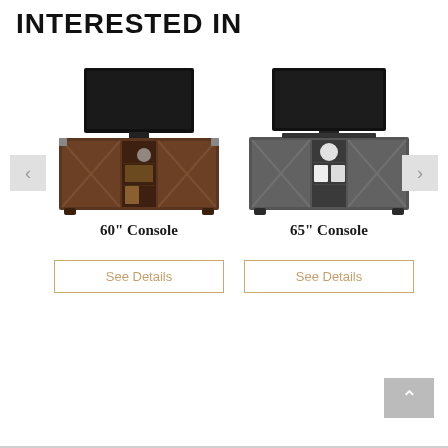INTERESTED IN
[Figure (photo): 60 inch TV console in dark brown wood finish with barn door style panels and open shelving, TV on top]
60" Console
See Details
[Figure (photo): 65 inch TV console in grey/charcoal finish with barn door style panels and open shelving, TV on top]
65" Console
See Details